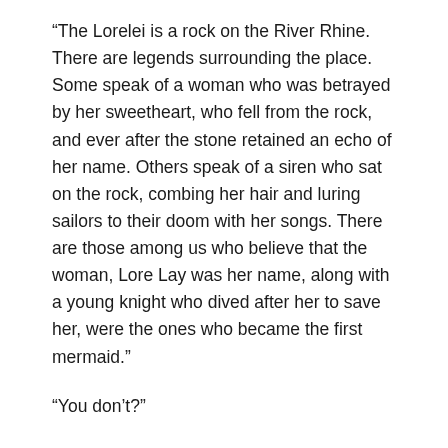“The Lorelei is a rock on the River Rhine. There are legends surrounding the place. Some speak of a woman who was betrayed by her sweetheart, who fell from the rock, and ever after the stone retained an echo of her name. Others speak of a siren who sat on the rock, combing her hair and luring sailors to their doom with her songs. There are those among us who believe that the woman, Lore Lay was her name, along with a young knight who dived after her to save her, were the ones who became the first mermaid.”
“You don’t?”
“The story isn’t that old. Mermaids have been around for far longer than that.”